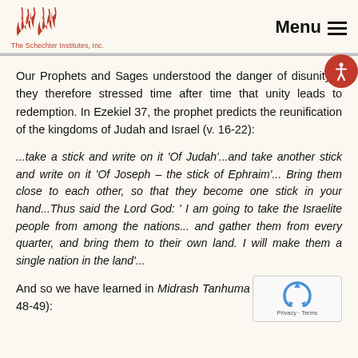The Schechter Institutes, Inc. | Menu
Our Prophets and Sages understood the danger of disunity and they therefore stressed time after time that unity leads to redemption. In Ezekiel 37, the prophet predicts the reunification of the kingdoms of Judah and Israel (v. 16-22):
...take a stick and write on it 'Of Judah'...and take another stick and write on it 'Of Joseph – the stick of Ephraim'... Bring them close to each other, so that they become one stick in your hand...Thus said the Lord God: 'I am going to take the Israelite people from among the nations... and gather them from every quarter, and bring them to their own land. I will make them a single nation in the land'...
And so we have learned in Midrash Tanhuma (ed. Buber, N pp. 48-49):